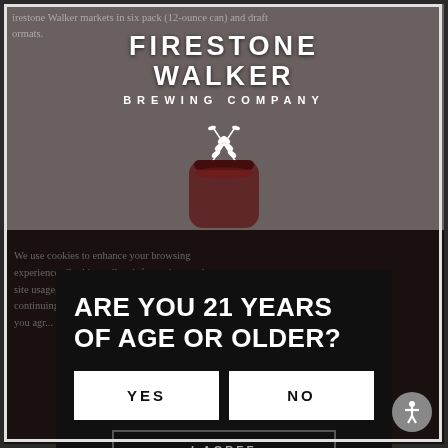[Figure (logo): Firestone Walker Brewing Company logo with crossed wheat/hop icon, white text on dark background]
Firestone Walker markets in six pack (12-ounce can) and draft formats.
We use cookies to enhance your browsing experience. Cookies collect information, analyze site usage, and assist in our marketing efforts. By continuing to browse or by clicking "Accept Cookies" you agree to our...
ARE YOU 21 YEARS OF AGE OR OLDER?
YES
NO
I AGREE